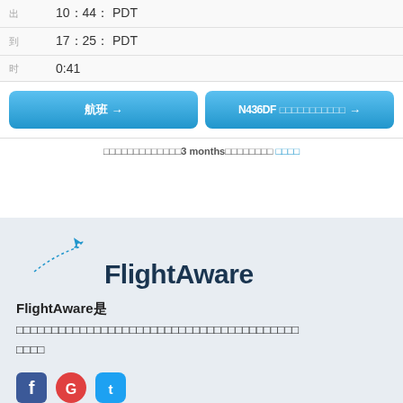|  | 10：44：PDT |
|  | 17：25：PDT |
|  | 0:41 |
航班 → | N436DF→
过去3 months的历史记录 更多
[Figure (logo): FlightAware logo with airplane icon and dotted flight path]
FlightAware是
提供实时航班跟踪、航班状态、机场延误报告和历史信息的网站。